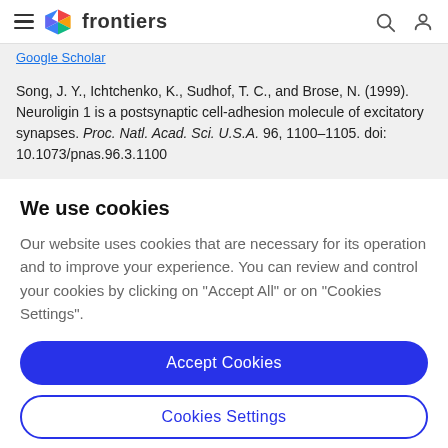frontiers
Google Scholar
Song, J. Y., Ichtchenko, K., Sudhof, T. C., and Brose, N. (1999). Neuroligin 1 is a postsynaptic cell-adhesion molecule of excitatory synapses. Proc. Natl. Acad. Sci. U.S.A. 96, 1100–1105. doi: 10.1073/pnas.96.3.1100
We use cookies
Our website uses cookies that are necessary for its operation and to improve your experience. You can review and control your cookies by clicking on "Accept All" or on "Cookies Settings".
Accept Cookies
Cookies Settings